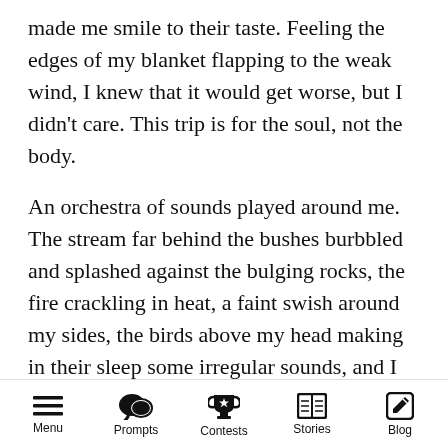made me smile to their taste. Feeling the edges of my blanket flapping to the weak wind, I knew that it would get worse, but I didn't care. This trip is for the soul, not the body.
An orchestra of sounds played around me. The stream far behind the bushes burbbled and splashed against the bulging rocks, the fire crackling in heat, a faint swish around my sides, the birds above my head making in their sleep some irregular sounds, and I sighed and enjoyed nature's taste in music. I laid my bedroll and stretched upon it. A sleepiness came over me, and I looked at the fire from the fog of an alien
Menu   Prompts   Contests   Stories   Blog